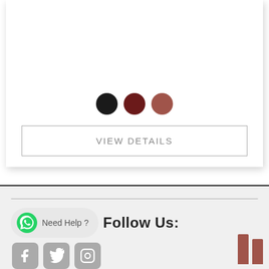[Figure (other): Three color swatches (black, dark red, brown) shown as circles above a VIEW DETAILS button inside a white card with shadow]
VIEW DETAILS
Enter your email address
Subscribe
Need Help ?
Follow Us:
[Figure (other): WhatsApp icon in a rounded grey bubble next to 'Need Help?' text]
[Figure (other): Social media icons: Facebook, Twitter, Instagram shown as grey rounded squares]
[Figure (other): Two vertical brown/mauve bars at the bottom right corner]